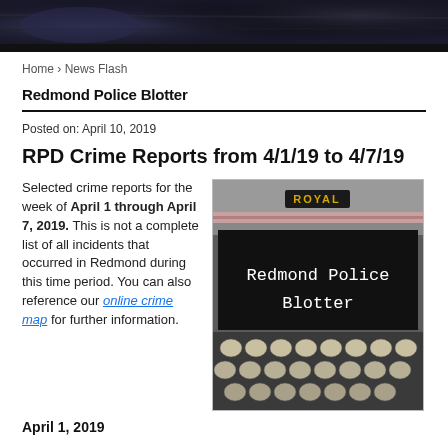[Figure (photo): Dark header banner image with dark background]
Home › News Flash
Redmond Police Blotter
Posted on: April 10, 2019
RPD Crime Reports from 4/1/19 to 4/7/19
Selected crime reports for the week of April 1 through April 7, 2019. This is not a complete list of all incidents that occurred in Redmond during this time period. You can also reference our online crime map for further information.
[Figure (photo): Royal typewriter with text 'Redmond Police Blotter' on the paper]
April 1, 2019